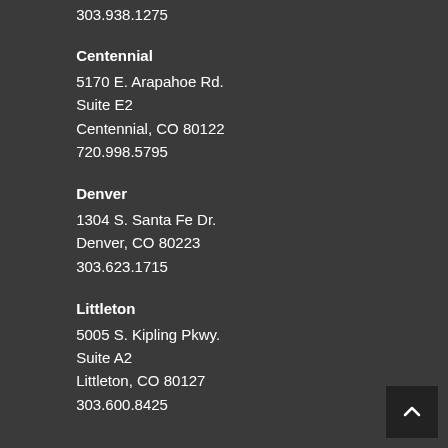303.938.1275
Centennial
5170 E. Arapahoe Rd.
Suite E2
Centennial, CO 80122
720.998.5795
Denver
1304 S. Santa Fe Dr.
Denver, CO 80223
303.623.1715
Littleton
5005 S. Kipling Pkwy.
Suite A2
Littleton, CO 80127
303.600.8425